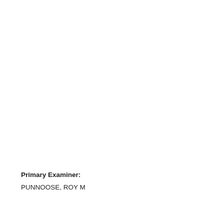Primary Examiner: PUNNOOSE, ROY M